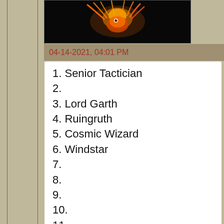[Figure (photo): Dark background image with orange/red creature resembling a phoenix or squid at top of page]
04-14-2021, 04:01 PM
1. Senior Tactician
2.
3. Lord Garth
4. Ruingruth
5. Cosmic Wizard
6. Windstar
7.
8.
9.
10.
11.
12. Keeope
Find
[Figure (photo): Dark reddish avatar image of a cat-like creature]
Ruingurth
Adept